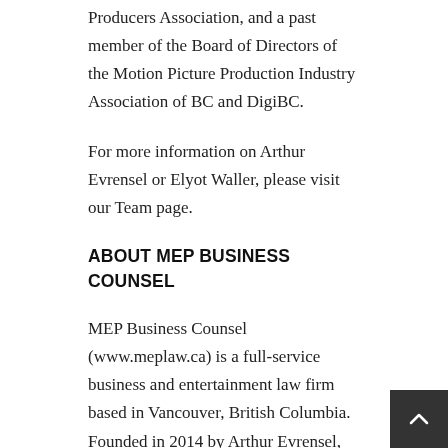Producers Association, and a past member of the Board of Directors of the Motion Picture Production Industry Association of BC and DigiBC.
For more information on Arthur Evrensel or Elyot Waller, please visit our Team page.
ABOUT MEP BUSINESS COUNSEL
MEP Business Counsel (www.meplaw.ca) is a full-service business and entertainment law firm based in Vancouver, British Columbia.  Founded in 2014 by Arthur Evrensel, Ryan Patryluk and Marshall Pawar, the firm offers the pedigree of internationally recognized and award winning legal counsel coupled with streamlined and cost-efficient advisory services.  With its team of highly experienced business lawyers, MEP Business Counsel delivers results tailored...